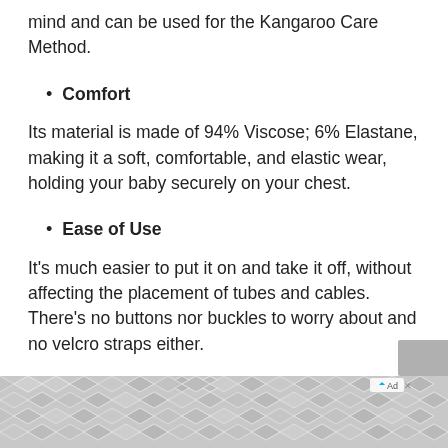mind and can be used for the Kangaroo Care Method.
Comfort
Its material is made of 94% Viscose; 6% Elastane, making it a soft, comfortable, and elastic wear, holding your baby securely on your chest.
Ease of Use
It’s much easier to put it on and take it off, without affecting the placement of tubes and cables. There’s no buttons nor buckles to worry about and no velcro straps either.
[Figure (other): Decorative geometric hexagon advertisement banner at the bottom of the page with gray and white pattern, including a small close/skip button area.]